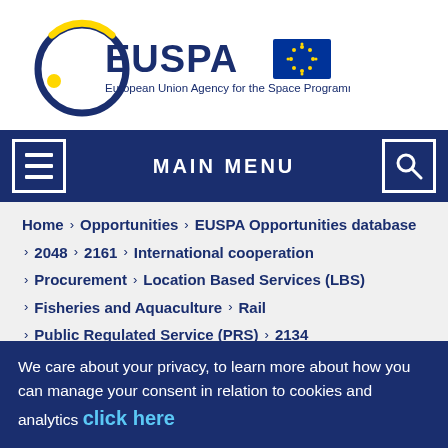[Figure (logo): EUSPA - European Union Agency for the Space Programme logo with EU flag]
MAIN MENU
Home > Opportunities > EUSPA Opportunities database
> 2048 > 2161 > International cooperation
> Procurement > Location Based Services (LBS)
> Fisheries and Aquaculture > Rail
> Public Regulated Service (PRS) > 2134
> Mobility & Smart Cities > Search and Rescue > Road
We care about your privacy, to learn more about how you can manage your consent in relation to cookies and analytics click here